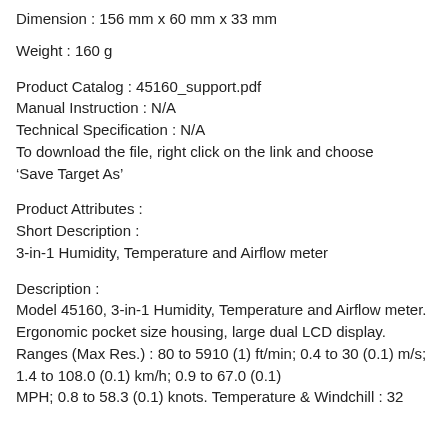Dimension : 156 mm x 60 mm x 33 mm
Weight : 160 g
Product Catalog : 45160_support.pdf
Manual Instruction : N/A
Technical Specification : N/A
To download the file, right click on the link and choose ‘Save Target As’
Product Attributes :
Short Description :
3-in-1 Humidity, Temperature and Airflow meter
Description :
Model 45160, 3-in-1 Humidity, Temperature and Airflow meter. Ergonomic pocket size housing, large dual LCD display. Ranges (Max Res.) : 80 to 5910 (1) ft/min; 0.4 to 30 (0.1) m/s; 1.4 to 108.0 (0.1) km/h; 0.9 to 67.0 (0.1) MPH; 0.8 to 58.3 (0.1) knots. Temperature & Windchill : 32